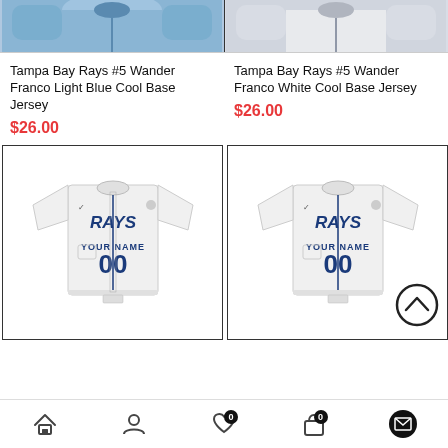[Figure (photo): Cropped top portion of Tampa Bay Rays light blue jersey on a mannequin]
[Figure (photo): Cropped top portion of Tampa Bay Rays white jersey on a mannequin]
Tampa Bay Rays #5 Wander Franco Light Blue Cool Base Jersey
$26.00
Tampa Bay Rays #5 Wander Franco White Cool Base Jersey
$26.00
[Figure (photo): Tampa Bay Rays white custom jersey with YOUR NAME 00 on front, Rays logo]
[Figure (photo): Tampa Bay Rays white custom jersey with YOUR NAME 00 on front, Rays logo, back-to-top button overlay]
Home | Account | Wishlist (0) | Cart (0) | Email